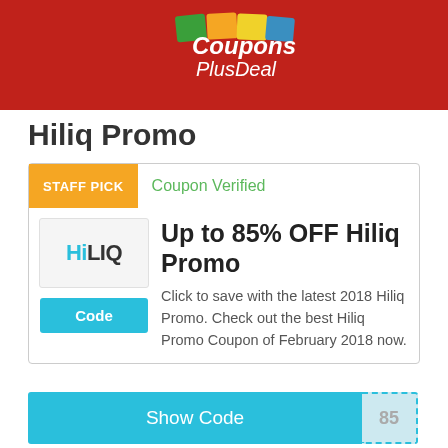[Figure (logo): CouponsPlusDeal logo on red header background]
Hiliq Promo
STAFF PICK
Coupon Verified
[Figure (logo): HiLIQ brand logo]
Code
Up to 85% OFF Hiliq Promo
Click to save with the latest 2018 Hiliq Promo. Check out the best Hiliq Promo Coupon of February 2018 now.
Show Code